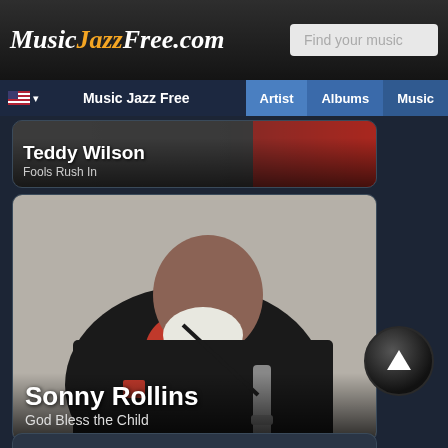MusicJazzFree.com — Find your music
Music Jazz Free | Artist | Albums | Music
[Figure (screenshot): Partial card showing Teddy Wilson artist photo with text overlay: artist name Teddy Wilson and album Fools Rush In]
Teddy Wilson
Fools Rush In
[Figure (photo): Photo of Sonny Rollins, an elderly Black man with white beard wearing a black jacket over red turtleneck, holding a saxophone, seated against a light gray background]
Sonny Rollins
God Bless the Child